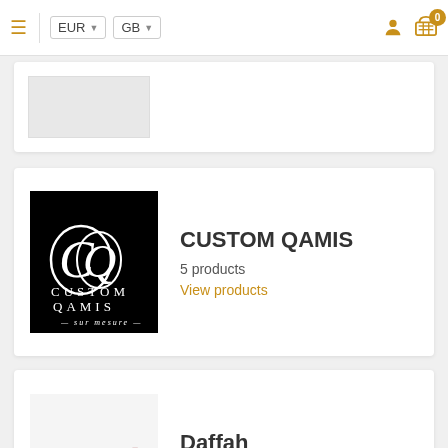EUR ▼  GB ▼
[Figure (logo): Custom Qamis brand logo - black background with white stylized letters CQ and text 'CUSTOM QAMIS sur mesure']
CUSTOM QAMIS
5 products
View products
[Figure (logo): Daffah brand logo - Arabic text 'الدفه' in dark red/maroon color]
Daffah
16 products
View products